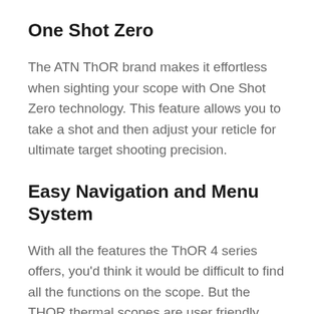One Shot Zero
The ATN ThOR brand makes it effortless when sighting your scope with One Shot Zero technology. This feature allows you to take a shot and then adjust your reticle for ultimate target shooting precision.
Easy Navigation and Menu System
With all the features the ThOR 4 series offers, you'd think it would be difficult to find all the functions on the scope. But the THOR thermal scopes are user friendly because the navigation